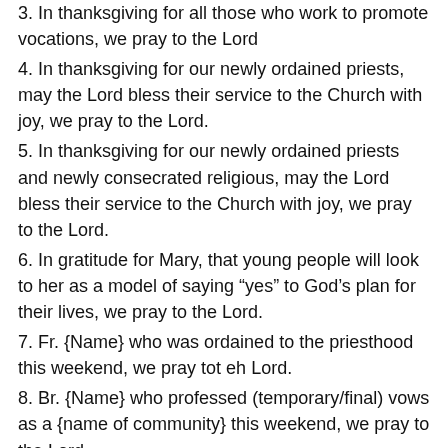3. In thanksgiving for all those who work to promote vocations, we pray to the Lord
4. In thanksgiving for our newly ordained priests, may the Lord bless their service to the Church with joy, we pray to the Lord.
5. In thanksgiving for our newly ordained priests and newly consecrated religious, may the Lord bless their service to the Church with joy, we pray to the Lord.
6. In gratitude for Mary, that young people will look to her as a model of saying “yes” to God’s plan for their lives, we pray to the Lord.
7. Fr. {Name} who was ordained to the priesthood this weekend, we pray tot eh Lord.
8. Br. {Name} who professed (temporary/final) vows as a {name of community} this weekend, we pray to the Lord.
9. Sr. {Name} who professed (temporary/final) vows as a {name of community} this weekend, we pray to